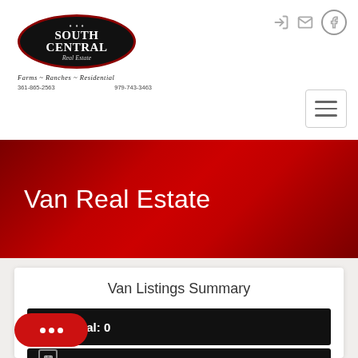[Figure (logo): South Central Real Estate logo — black oval with red border, white bold text 'SOUTH CENTRAL Real Estate', subtitle 'Farms - Ranches - Residential', phone numbers 361-865-2563 and 979-743-3463]
Van Real Estate
Van Listings Summary
Total: 0